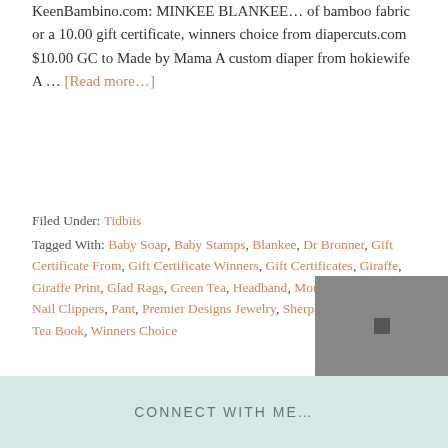KeenBambino.com: MINKEE BLANKEE… of bamboo fabric or a 10.00 gift certificate, winners choice from diapercuts.com $10.00 GC to Made by Mama A custom diaper from hokiewife A … [Read more...]
Filed Under: Tidbits
Tagged With: Baby Soap, Baby Stamps, Blankee, Dr Bronner, Gift Certificate From, Gift Certificate Winners, Gift Certificates, Giraffe, Giraffe Print, Glad Rags, Green Tea, Headband, Monkey Doodlez, Nail Clippers, Pant, Premier Designs Jewelry, Sherpa, Swaddlebees, Tea Book, Winners Choice
1
2
Next Page »
CONNECT WITH ME...